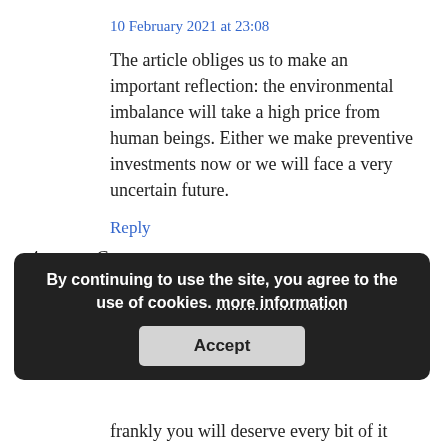10 February 2021 at 23:08
The article obliges us to make an important reflection: the environmental imbalance will take a high price from human beings. Either we make preventive investments now or we will face a very uncertain future.
Reply
4. — Common sense says:
12 February 2021 at 18:51
announced the most... will cause unintended cons... blow back… and
[Figure (screenshot): Cookie consent banner overlay on dark background reading: 'By continuing to use the site, you agree to the use of cookies. more information' with an Accept button]
frankly you will deserve every bit of it